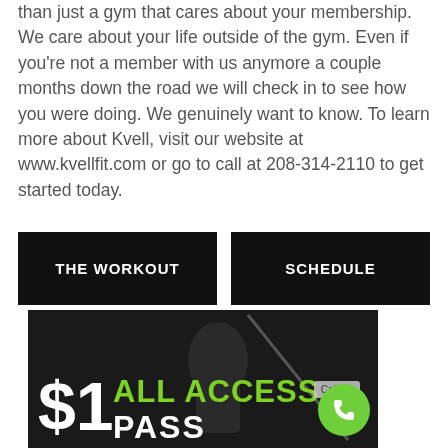than just a gym that cares about your membership. We care about your life outside of the gym. Even if you're not a member with us anymore a couple months down the road we will check in to see how you were doing. We genuinely want to know. To learn more about Kvell, visit our website at www.kvellfit.com or go to call at 208-314-2110 to get started today.
[Figure (infographic): Two black navigation buttons side by side: 'THE WORKOUT' and 'SCHEDULE']
[Figure (photo): Dark promotional image showing a woman exercising with text '$1 ALL ACCESS PASS' in white and green, with a green phone/Call Us button badge in bottom right]